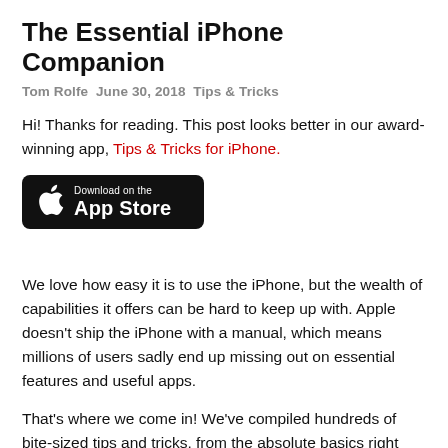The Essential iPhone Companion
Tom Rolfe  June 30, 2018  Tips & Tricks
Hi! Thanks for reading. This post looks better in our award-winning app, Tips & Tricks for iPhone.
[Figure (other): Download on the App Store badge button (black rounded rectangle with Apple logo)]
We love how easy it is to use the iPhone, but the wealth of capabilities it offers can be hard to keep up with. Apple doesn't ship the iPhone with a manual, which means millions of users sadly end up missing out on essential features and useful apps.
That's where we come in! We've compiled hundreds of bite-sized tips and tricks, from the absolute basics right through to advanced productivity secrets. Whether you're a beginner or an expert, this digital guide will help...